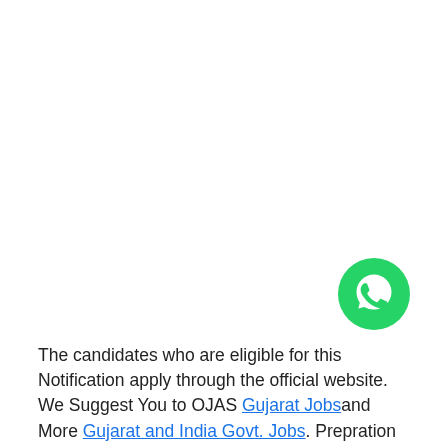[Figure (other): WhatsApp floating action button — green circle with white WhatsApp phone/chat icon]
The candidates who are eligible for this Notification apply through the official website. We Suggest You to OJAS Gujarat Jobsand More Gujarat and India Govt. Jobs. Prepration